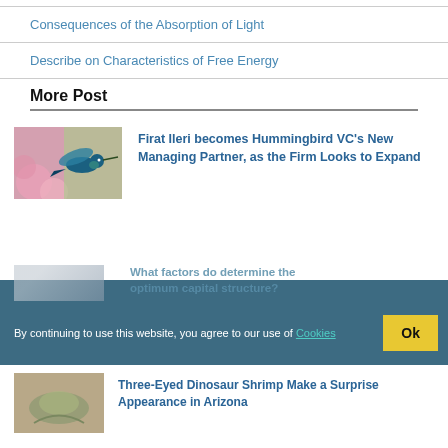Consequences of the Absorption of Light
Describe on Characteristics of Free Energy
More Post
[Figure (photo): Hummingbird in flight near pink flowers]
Firat Ileri becomes Hummingbird VC's New Managing Partner, as the Firm Looks to Expand
By continuing to use this website, you agree to our use of Cookies
[Figure (photo): Three-eyed dinosaur shrimp]
Three-Eyed Dinosaur Shrimp Make a Surprise Appearance in Arizona